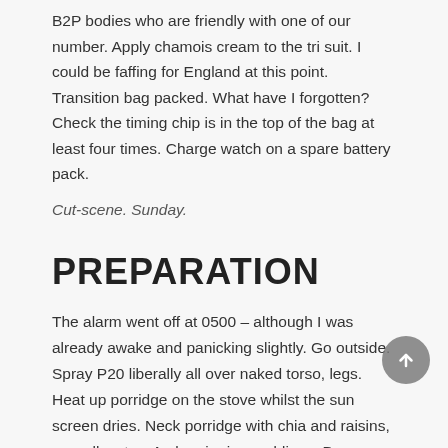B2P bodies who are friendly with one of our number. Apply chamois cream to the tri suit. I could be faffing for England at this point. Transition bag packed. What have I forgotten? Check the timing chip is in the top of the bag at least four times. Charge watch on a spare battery pack.
Cut-scene. Sunday.
PREPARATION
The alarm went off at 0500 – although I was already awake and panicking slightly. Go outside. Spray P20 liberally all over naked torso, legs. Heat up porridge on the stove whilst the sun screen dries. Neck porridge with chia and raisins, as well as two Ambrosia rice puddings. Damn, forgot to buy bananas. To late now. Gareth makes a brew. What  a nice man. Quick visit to port-a-loos is disturbingly unproductive, hope that doesn't come back to bite me later on.